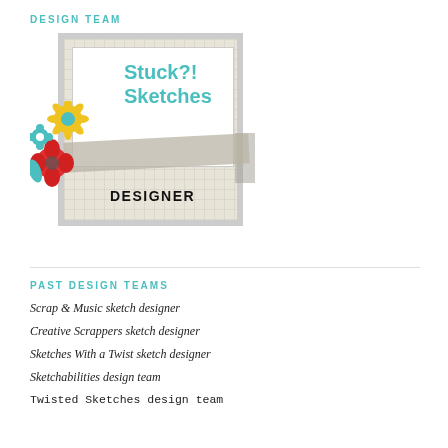DESIGN TEAM
[Figure (logo): Stuck?! Sketches Designer badge with decorative flowers, grid background, and gray stripe]
PAST DESIGN TEAMS
Scrap & Music sketch designer
Creative Scrappers sketch designer
Sketches With a Twist sketch designer
Sketchabilities design team
Twisted Sketches design team